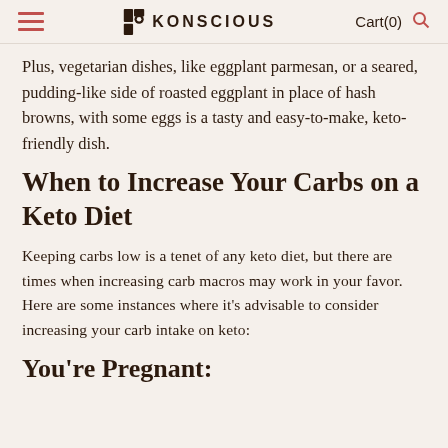≡  KONSCIOUS  Cart(0) 🔍
Plus, vegetarian dishes, like eggplant parmesan, or a seared, pudding-like side of roasted eggplant in place of hash browns, with some eggs is a tasty and easy-to-make, keto-friendly dish.
When to Increase Your Carbs on a Keto Diet
Keeping carbs low is a tenet of any keto diet, but there are times when increasing carb macros may work in your favor. Here are some instances where it's advisable to consider increasing your carb intake on keto:
You're Pregnant: